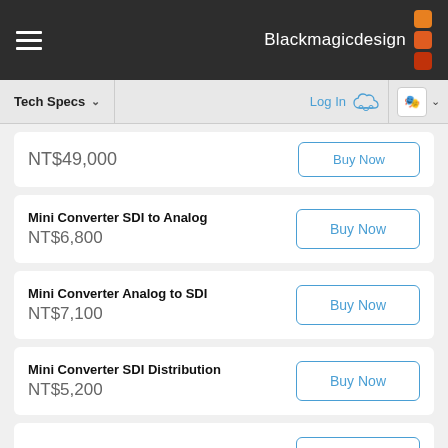Blackmagicdesign
Tech Specs
Log In
NT$49,000
Mini Converter SDI to Analog — NT$6,800
Mini Converter Analog to SDI — NT$7,100
Mini Converter SDI Distribution — NT$5,200
Mini Converter Sync Generator